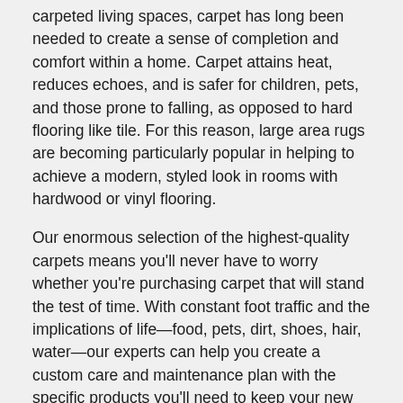carpeted living spaces, carpet has long been needed to create a sense of completion and comfort within a home. Carpet attains heat, reduces echoes, and is safer for children, pets, and those prone to falling, as opposed to hard flooring like tile. For this reason, large area rugs are becoming particularly popular in helping to achieve a modern, styled look in rooms with hardwood or vinyl flooring.
Our enormous selection of the highest-quality carpets means you'll never have to worry whether you're purchasing carpet that will stand the test of time. With constant foot traffic and the implications of life—food, pets, dirt, shoes, hair, water—our experts can help you create a custom care and maintenance plan with the specific products you'll need to keep your new carpet or area rug in like-new condition for years to come.